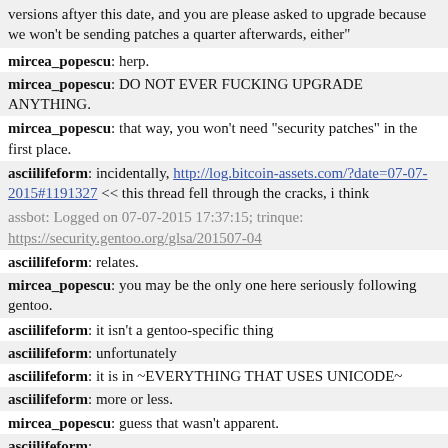versions aftyer this date, and you are please asked to upgrade because we won't be sending patches a quarter afterwards, either"
mircea_popescu: herp.
mircea_popescu: DO NOT EVER FUCKING UPGRADE ANYTHING.
mircea_popescu: that way, you won't need "security patches" in the first place.
asciilifeform: incidentally, http://log.bitcoin-assets.com/?date=07-07-2015#1191327 << this thread fell through the cracks, i think
assbot: Logged on 07-07-2015 17:37:15; trinque: https://security.gentoo.org/glsa/201507-04
asciilifeform: relates.
mircea_popescu: you may be the only one here seriously following gentoo.
asciilifeform: it isn't a gentoo-specific thing
asciilifeform: unfortunately
asciilifeform: it is in ~EVERYTHING THAT USES UNICODE~
asciilifeform: more or less.
mircea_popescu: guess that wasn't apparent.
asciilifeform: https://raw.githubusercontent.com/pedrib/PoC/master/generic/i-c-u-fail.txt
assbot: ... ( http://bit.ly/1fr1Kie )
asciilifeform: ^ proof of concept
asciilifeform: or wait, no